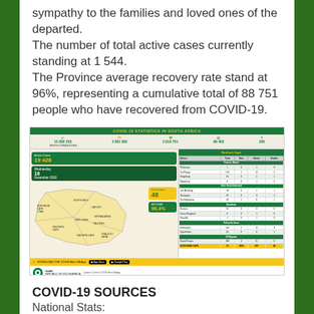sympathy to the families and loved ones of the departed. The number of total active cases currently standing at 1 544. The Province average recovery rate stand at 96%, representing a cumulative total of 88 751 people who have recovered from COVID-19.
[Figure (infographic): COVID-19 Statistics in South Africa infographic showing national stats (total cases 15 800 255, 2 801 082, 2 910 701, 88 403, 285), Active Cases 19 428, Wednesday 16 December 2020, Daily Fatalities 48, Recovery Rate 96.4%, with a South Africa provincial map showing case numbers for each province, alongside a Northern Cape statistics table with columns for sub-districts showing Total Cases, New Cases, and Deaths.]
COVID-19 SOURCES
National Stats:
https://sacoronavirus.co.za/